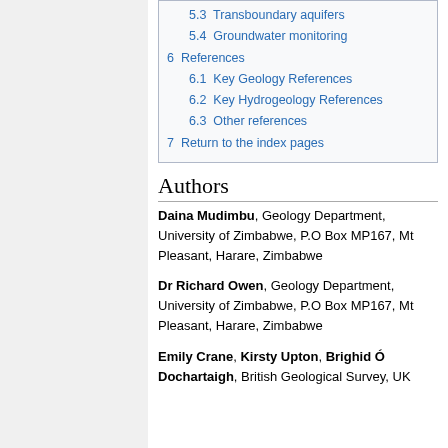5.3 Transboundary aquifers
5.4 Groundwater monitoring
6 References
6.1 Key Geology References
6.2 Key Hydrogeology References
6.3 Other references
7 Return to the index pages
Authors
Daina Mudimbu, Geology Department, University of Zimbabwe, P.O Box MP167, Mt Pleasant, Harare, Zimbabwe
Dr Richard Owen, Geology Department, University of Zimbabwe, P.O Box MP167, Mt Pleasant, Harare, Zimbabwe
Emily Crane, Kirsty Upton, Brighid Ó Dochartaigh, British Geological Survey, UK